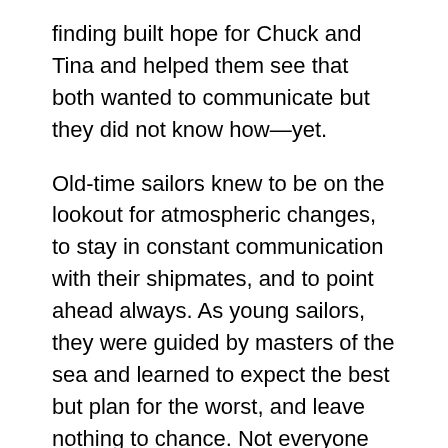finding built hope for Chuck and Tina and helped them see that both wanted to communicate but they did not know how—yet.
Old-time sailors knew to be on the lookout for atmospheric changes, to stay in constant communication with their shipmates, and to point ahead always. As young sailors, they were guided by masters of the sea and learned to expect the best but plan for the worst, and leave nothing to chance. Not everyone entering a relationship is fortunate enough to be launched in a boat rigged for all sailing conditions. PACT therapists are trained to be master navigators at the helm. We help couples help themselves on rocky seas, in and out of narrow channels, and around